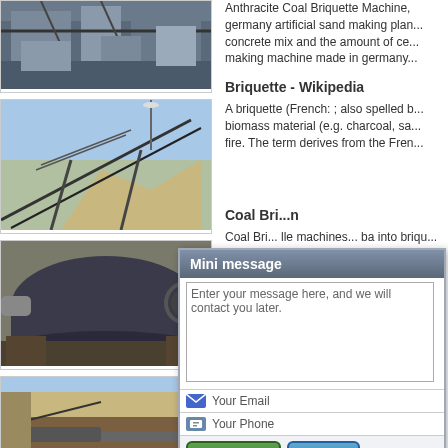[Figure (photo): Industrial plant or quarry facility with structural beams and machinery]
[Figure (photo): Conveyor belt structure on an incline with sand/gravel pile in background]
[Figure (photo): Large industrial cylindrical drum or ball mill with gear mechanism]
[Figure (photo): Open pit excavation or mining site with machinery/conveyor]
Anthracite Coal Briquette Machine, germany artificial sand making plan... concrete mix and the amount of ce... making machine made in germany...
Briquette - Wikipedia
A briquette (French: ; also spelled b... biomass material (e.g. charcoal, sa... fire. The term derives from the Fren...
Coal Bri... n
Coal Bri... lle machines... ba into briqu... a value of b...
Coal Bri... Tu
28-4-201... es hollow co...
[Figure (screenshot): Mini message popup dialog with text area saying 'Enter your message here, and we will contact you later.', Your Email field, Your Phone field, and Email Us and Send buttons]